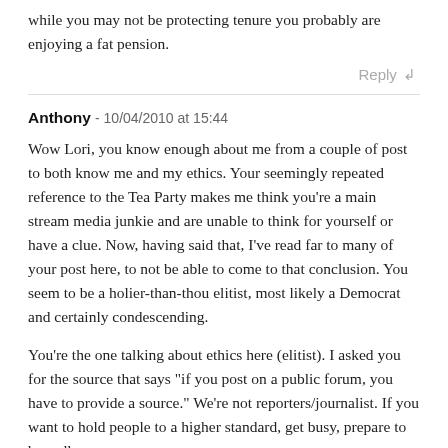while you may not be protecting tenure you probably are enjoying a fat pension.
Reply
Anthony - 10/04/2010 at 15:44
Wow Lori, you know enough about me from a couple of post to both know me and my ethics. Your seemingly repeated reference to the Tea Party makes me think you're a main stream media junkie and are unable to think for yourself or have a clue. Now, having said that, I've read far to many of your post here, to not be able to come to that conclusion. You seem to be a holier-than-thou elitist, most likely a Democrat and certainly condescending.
You're the one talking about ethics here (elitist). I asked you for the source that says "if you post on a public forum, you have to provide a source." We're not reporters/journalist. If you want to hold people to a higher standard, get busy, prepare to be sadly...